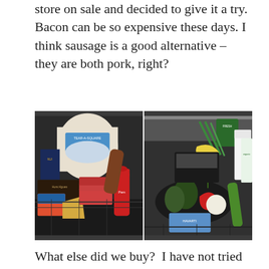store on sale and decided to give it a try. Bacon can be so expensive these days. I think sausage is a good alternative – they are both pork, right?
[Figure (photo): Two side-by-side photos of grocery items laid out on a stovetop. Left photo shows packaged meats, cheese, a can of cooking spray, paper towels, and other items. Right photo shows fresh vegetables including peppers, zucchini, green onions, avocados, bananas, an egg, sliced cheese, and cartons of milk/plant milk.]
What else did we buy?  I have not tried the Michael Angelo's veggie lasagna before, but thepicture sure makes it look good. My son wants to cook stir fry in the next night or two so he went off to the produce section and made his picks. As you can see I have